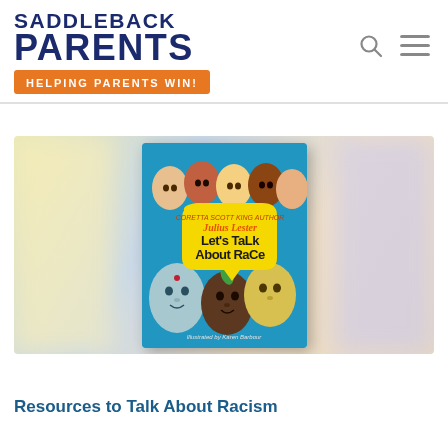[Figure (logo): Saddleback Parents logo with orange tagline 'Helping Parents Win!' and navigation icons]
[Figure (photo): Book cover of 'Let's Talk About Race' by Julius Lester, illustrated by Karen Barbour, showing colorful illustrated faces on a blue background with a yellow speech bubble containing the title]
Resources to Talk About Racism